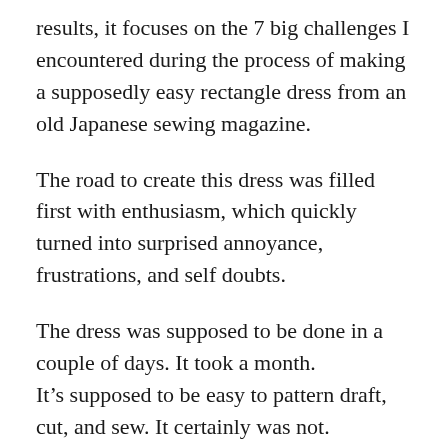results, it focuses on the 7 big challenges I encountered during the process of making a supposedly easy rectangle dress from an old Japanese sewing magazine.
The road to create this dress was filled first with enthusiasm, which quickly turned into surprised annoyance, frustrations, and self doubts.
The dress was supposed to be done in a couple of days. It took a month.
It’s supposed to be easy to pattern draft, cut, and sew. It certainly was not.
There were times when I was so angry for “wasting” so much time making this dress.
I almost cut it all up when the dress was